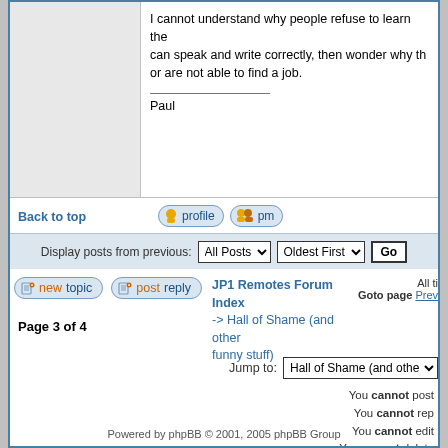I cannot understand why people refuse to learn the can speak and write correctly, then wonder why th or are not able to find a job.
Paul
Back to top
Display posts from previous: All Posts Oldest First Go
JP1 Remotes Forum Index -> Hall of Shame (and other funny stuff)
All ti Goto page Prev
Page 3 of 4
Jump to: Hall of Shame (and other
You cannot post You cannot rep You cannot edit You cannot delete You cannot v
Powered by phpBB © 2001, 2005 phpBB Group